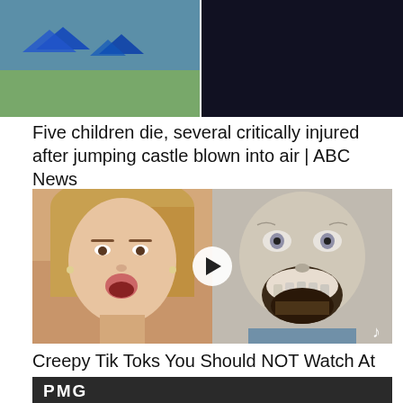[Figure (photo): Split thumbnail image: left side shows tents/tarps on grass field (news scene), right side is dark/black background]
Five children die, several critically injured after jumping castle blown into air | ABC News
[Figure (photo): Split video thumbnail: left side shows blonde woman with surprised expression, right side shows creepy zombie-like creature with wide mouth and pale skin. Play button overlay in center. TikTok icon bottom right.]
Creepy Tik Toks You Should NOT Watch At Night
[Figure (photo): Dark thumbnail showing PMG logo text in bold white letters on dark background]